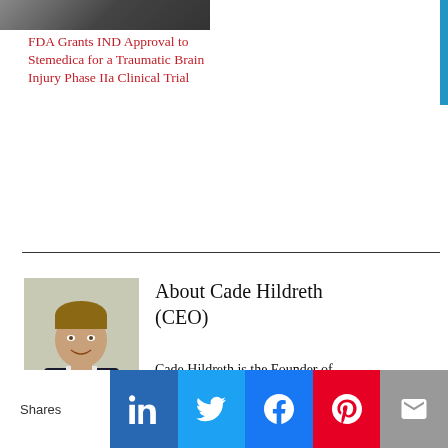[Figure (photo): Partial view of a brain scan or head image, cropped at top of page]
FDA Grants IND Approval to Stemedica for a Traumatic Brain Injury Phase IIa Clinical Trial
[Figure (photo): Portrait photo of Cade Hildreth (CEO), a young person smiling wearing a dark vest and light shirt]
About Cade Hildreth (CEO)
Cade Hildreth is the Founder of BioInformant.com, the world's
Shares | LinkedIn | Twitter | Facebook | Pinterest | Email